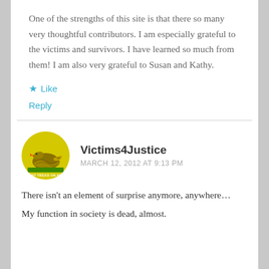One of the strengths of this site is that there so many very thoughtful contributors. I am especially grateful to the victims and survivors. I have learned so much from them! I am also very grateful to Susan and Kathy.
★ Like
Reply
Victims4Justice
MARCH 12, 2012 AT 9:13 PM
There isn't an element of surprise anymore, anywhere…
My function in society is dead, almost.